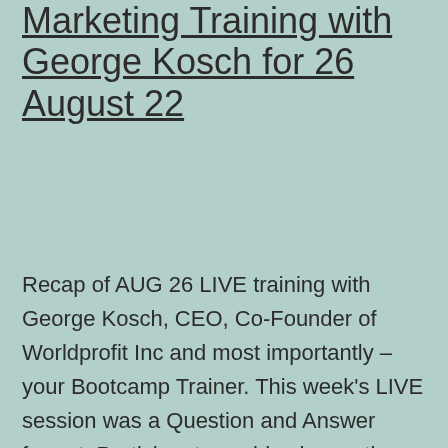Marketing Training with George Kosch for 26 August 22
Recap of AUG 26 LIVE training with George Kosch, CEO, Co-Founder of Worldprofit Inc and most importantly – your Bootcamp Trainer. This week's LIVE session was a Question and Answer format. Participants could ask questions get, demonstrations as needed, and George also answered a number of common questions that come through our Support department. Q:… Continue reading